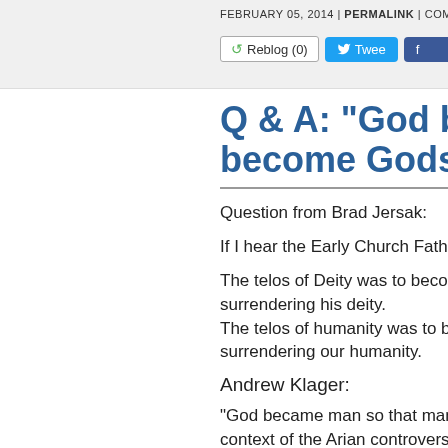FEBRUARY 05, 2014 | PERMALINK | COMMENTS
Q & A: "God bec... become Gods" –
Question from Brad Jersak:
If I hear the Early Church Fathers
The telos of Deity was to become... surrendering his deity.
The telos of humanity was to bec... surrendering our humanity.
Andrew Klager:
“God became man so that man m... context of the Arian controversy, Irenaeus most prominent among